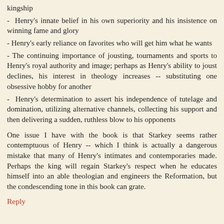kingship
- Henry's innate belief in his own superiority and his insistence on winning fame and glory
- Henry's early reliance on favorites who will get him what he wants
- The continuing importance of jousting, tournaments and sports to Henry's royal authority and image; perhaps as Henry's ability to joust declines, his interest in theology increases -- substituting one obsessive hobby for another
- Henry's determination to assert his independence of tutelage and domination, utilizing alternative channels, collecting his support and then delivering a sudden, ruthless blow to his opponents
One issue I have with the book is that Starkey seems rather contemptuous of Henry -- which I think is actually a dangerous mistake that many of Henry's intimates and contemporaries made. Perhaps the king will regain Starkey's respect when he educates himself into an able theologian and engineers the Reformation, but the condescending tone in this book can grate.
Reply